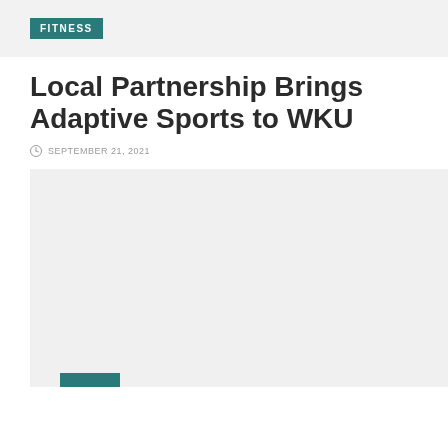FITNESS
Local Partnership Brings Adaptive Sports to WKU
SEPTEMBER 21, 2021
[Figure (photo): Large image placeholder with light gray background, cropped at bottom of page with a teal/dark green badge partially visible at lower left]